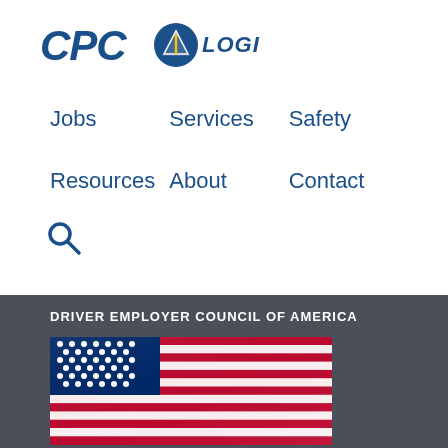[Figure (logo): CPC Logistics company logo with blue truck/mountain icon]
Jobs
Services
Safety
Resources
About
Contact
[Figure (other): Search icon (magnifying glass)]
DRIVER EMPLOYER COUNCIL OF AMERICA
[Figure (photo): American flag waving, red white and blue stars and stripes]